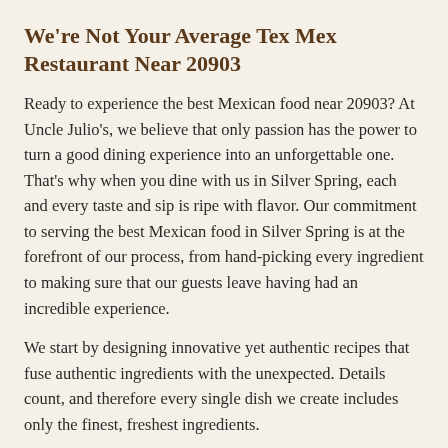We're Not Your Average Tex Mex Restaurant Near 20903
Ready to experience the best Mexican food near 20903? At Uncle Julio's, we believe that only passion has the power to turn a good dining experience into an unforgettable one. That's why when you dine with us in Silver Spring, each and every taste and sip is ripe with flavor. Our commitment to serving the best Mexican food in Silver Spring is at the forefront of our process, from hand-picking every ingredient to making sure that our guests leave having had an incredible experience.
We start by designing innovative yet authentic recipes that fuse authentic ingredients with the unexpected. Details count, and therefore every single dish we create includes only the finest, freshest ingredients.
Our partners carefully hand-select our produce, including gorgeous Hass avocados, vibrant, flavorful peppers, and vine-ripe tomatoes. All of our tender cuts